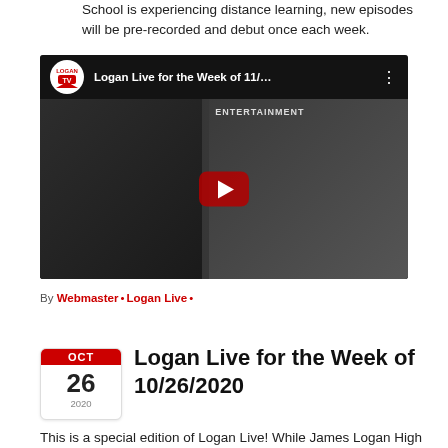School is experiencing distance learning, new episodes will be pre-recorded and debut once each week.
[Figure (screenshot): YouTube video thumbnail for 'Logan Live for the Week of 11/...' showing a person standing and an entertainment backdrop, with Logan TV logo and red play button.]
By Webmaster • Logan Live •
Logan Live for the Week of 10/26/2020
This is a special edition of Logan Live! While James Logan High School is experiencing distance learning, new episodes will be